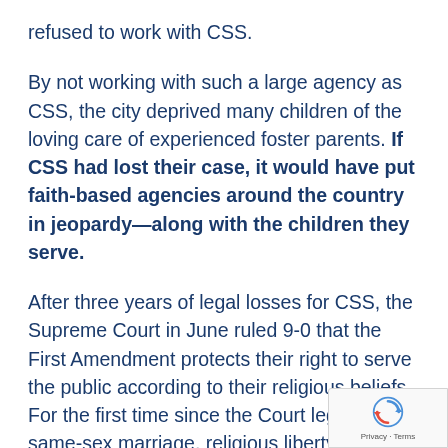refused to work with CSS.
By not working with such a large agency as CSS, the city deprived many children of the loving care of experienced foster parents. If CSS had lost their case, it would have put faith-based agencies around the country in jeopardy—along with the children they serve.
After three years of legal losses for CSS, the Supreme Court in June ruled 9-0 that the First Amendment protects their right to serve the public according to their religious beliefs. For the first time since the Court legalized same-sex marriage, religious liberty came head to head with same-sex